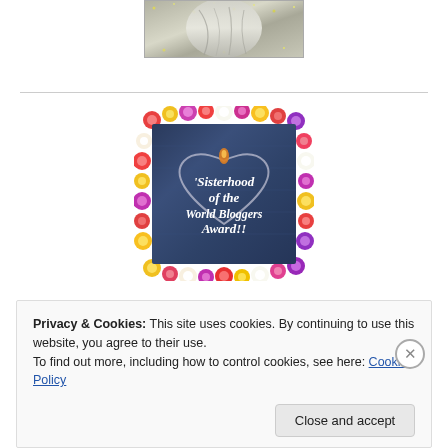[Figure (photo): Partial view of a stone/marble statue or relief sculpture with glittery border, cropped at top]
[Figure (photo): Sisterhood of the World Bloggers Award image: denim fabric heart with colorful flower border, white text reading 'Sisterhood of the World Bloggers Award!!']
Privacy & Cookies: This site uses cookies. By continuing to use this website, you agree to their use.
To find out more, including how to control cookies, see here: Cookie Policy
Close and accept